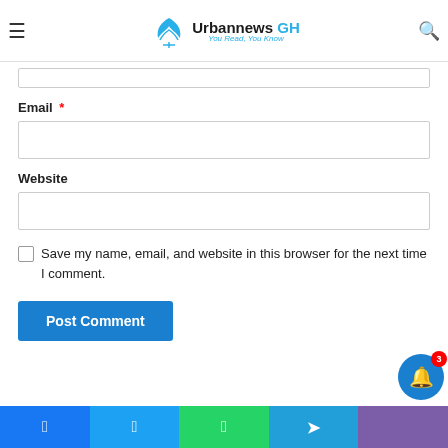Urbannews GH — You Read, You Know
Email *
Website
Save my name, email, and website in this browser for the next time I comment.
Post Comment
Facebook | Twitter | WhatsApp | Telegram | Viber